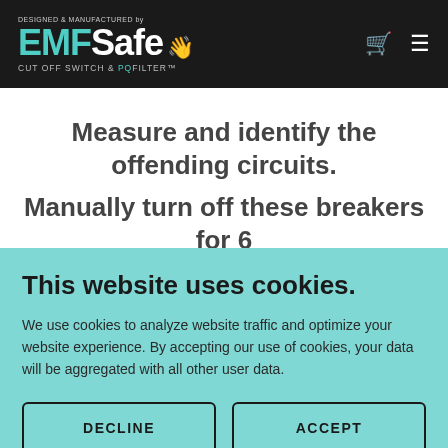DESIGNED & MANUFACTURED by EMFSafe CUT OFF SWITCH & PQFilter™
Measure and identify the offending circuits.
Manually turn off these breakers for 6
This website uses cookies.
We use cookies to analyze website traffic and optimize your website experience. By accepting our use of cookies, your data will be aggregated with all other user data.
DECLINE
ACCEPT